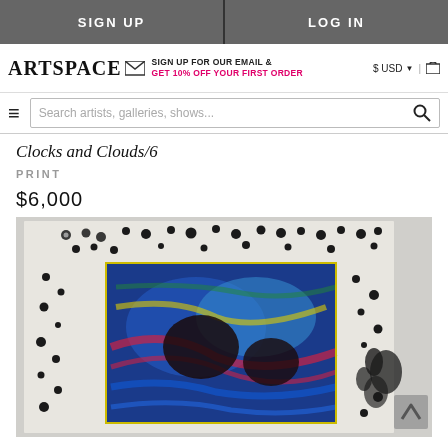SIGN UP | LOG IN
ARTSPACE — SIGN UP FOR OUR EMAIL & GET 10% OFF YOUR FIRST ORDER — $ USD | cart
Search artists, galleries, shows...
Clocks and Clouds/6
PRINT
$6,000
[Figure (photo): A print artwork titled 'Clocks and Clouds/6' showing abstract imagery with dark clock-like symbols scattered around the border and a colorful central panel with blue, red, yellow, and green abstract forms with dark circular shapes.]